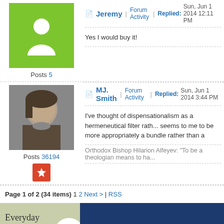Jeremy | Forum Activity | Replied: Sun, Jun 1 2014 12:11 PM
Yes I would buy it!
Posts 5
MJ. Smith | Forum Activity | Replied: Sun, Jun 1 2014 3:44 PM
I've thought of dispensationalism as a hermeneutical filter rath... seems to me to be more appropriately a bundle rather than a
Posts 36194
Orthodox Bishop Hilarion Alfeyev: "To be a theologian means to ha...
Page 1 of 2 (34 items) 1 2 Next > | RSS
[Figure (screenshot): Advertisement banner showing 'Everyday Theology' book cover and 'FREE: Ev... How to Read Cu...' promotional text on dark blue background]